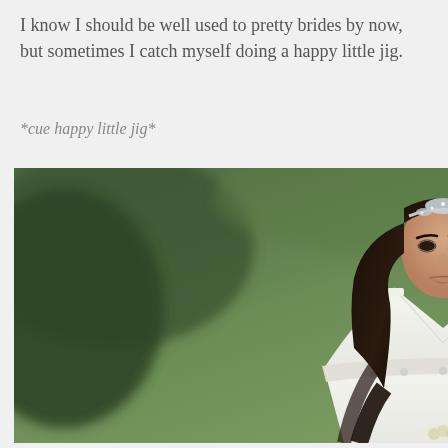I know I should be well used to pretty brides by now, but sometimes I catch myself doing a happy little jig.
*cue happy little jig*
[Figure (photo): A bride in a white sleeveless V-neck wedding dress with lace embellishment at the waist, wearing a crystal/rhinestone headpiece in her dark wavy hair. She is standing outdoors with green blurred foliage in the background. A white chair is partially visible to the right. The photo has a 'Jessica Jones Photography' watermark on the right side.]